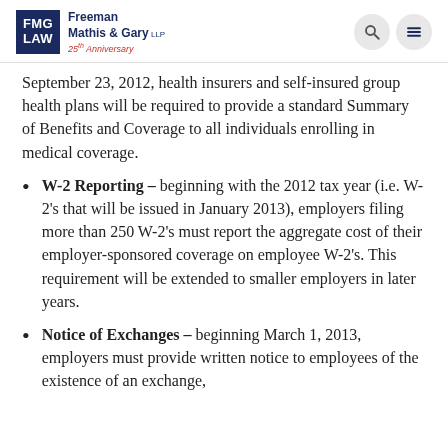FMG LAW — Freeman Mathis & Gary LLP, 25th Anniversary
September 23, 2012, health insurers and self-insured group health plans will be required to provide a standard Summary of Benefits and Coverage to all individuals enrolling in medical coverage.
W-2 Reporting – beginning with the 2012 tax year (i.e. W-2's that will be issued in January 2013), employers filing more than 250 W-2's must report the aggregate cost of their employer-sponsored coverage on employee W-2's. This requirement will be extended to smaller employers in later years.
Notice of Exchanges – beginning March 1, 2013, employers must provide written notice to employees of the existence of an exchange,